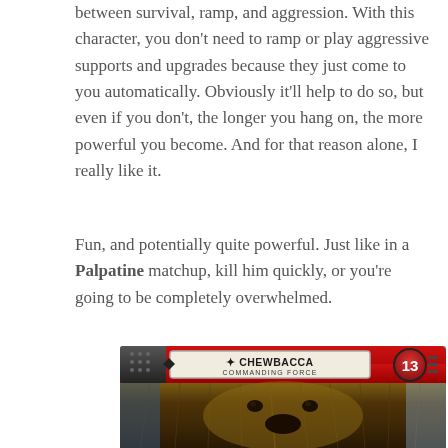between survival, ramp, and aggression. With this character, you don't need to ramp or play aggressive supports and upgrades because they just come to you automatically. Obviously it'll help to do so, but even if you don't, the longer you hang on, the more powerful you become. And for that reason alone, I really like it.
Fun, and potentially quite powerful. Just like in a Palpatine matchup, kill him quickly, or you're going to be completely overwhelmed.
[Figure (photo): A Star Wars Destiny card showing Chewbacca - Commanding Force with a point value of 13. The card features a header with red background, the character name in a banner, and an image of Chewbacca's face below.]